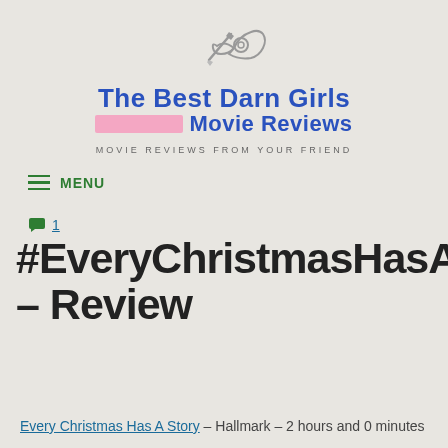[Figure (logo): Logo of The Best Darn Girls Movie Reviews: a pencil and horn/bugle icon above the site name]
The Best Darn Girls Movie Reviews
MOVIE REVIEWS FROM YOUR FRIEND
≡ MENU
💬 1
#EveryChristmasHasASto– Review
Every Christmas Has A Story – Hallmark – 2 hours and 0 minutes